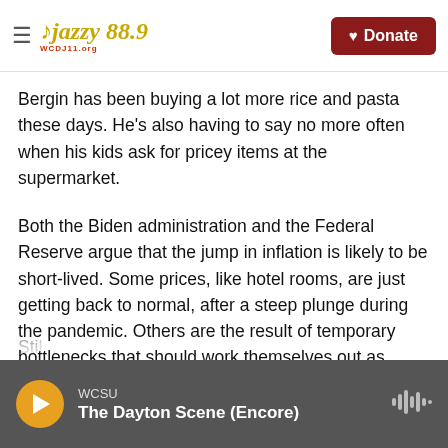Jazzy 88.9 | Donate
Bergin has been buying a lot more rice and pasta these days. He's also having to say no more often when his kids ask for pricey items at the supermarket.
Both the Biden administration and the Federal Reserve argue that the jump in inflation is likely to be short-lived. Some prices, like hotel rooms, are just getting back to normal, after a steep plunge during the pandemic. Others are the result of temporary bottlenecks that should work themselves out as supply catches up to demand.
WCSU | The Dayton Scene (Encore)